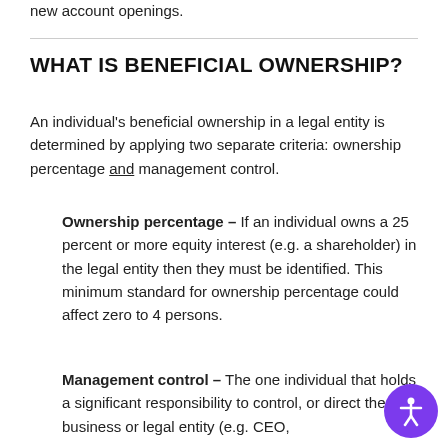new account openings.
WHAT IS BENEFICIAL OWNERSHIP?
An individual's beneficial ownership in a legal entity is determined by applying two separate criteria: ownership percentage and management control.
Ownership percentage – If an individual owns a 25 percent or more equity interest (e.g. a shareholder) in the legal entity then they must be identified. This minimum standard for ownership percentage could affect zero to 4 persons.
Management control – The one individual that holds a significant responsibility to control, or direct the business or legal entity (e.g. CEO,